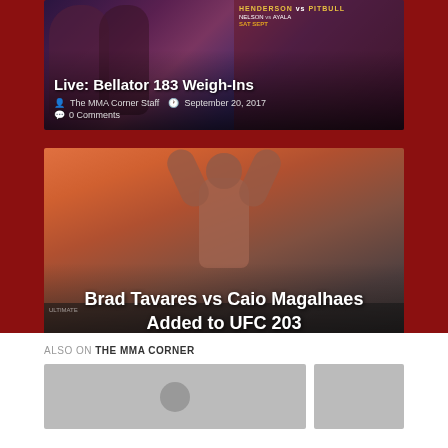[Figure (photo): Article card with background image for Bellator 183 Weigh-Ins showing fight promotional imagery]
Live: Bellator 183 Weigh-Ins
The MMA Corner Staff  •  September 20, 2017
0 Comments
[Figure (photo): Article card with background photo of Brad Tavares raising arms at weigh-in]
Brad Tavares vs Caio Magalhaes Added to UFC 203
Jake Schneider  •  July 24, 2016
0 Comments
ALSO ON THE MMA CORNER
[Figure (photo): Thumbnail images for related articles at bottom of page]